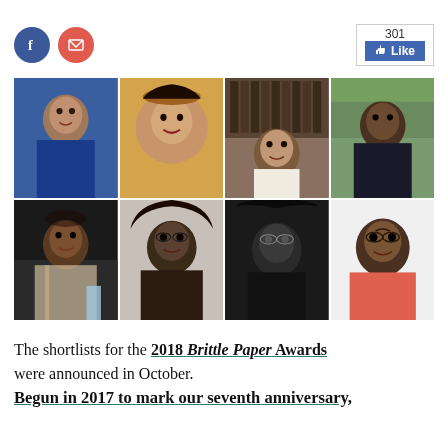[Figure (screenshot): Social sharing icons: Facebook circle button (blue) and email circle button (red), plus a Facebook Like button showing count 301]
[Figure (photo): 2x4 grid of eight portrait photos of African writers/literary figures, shortlisted for the 2018 Brittle Paper Awards]
The shortlists for the 2018 Brittle Paper Awards were announced in October.
Begun in 2017 to mark our seventh anniversary,